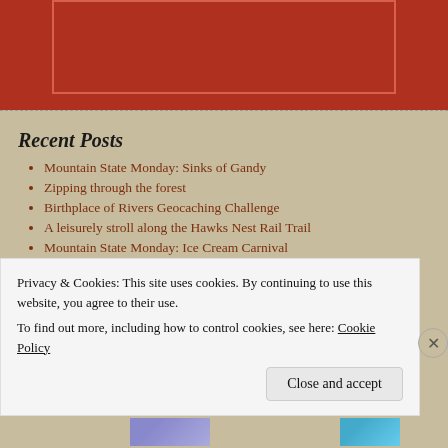[Figure (other): Partial red banner/logo at top of page — red rectangular background with inner bordered box]
Recent Posts
Mountain State Monday: Sinks of Gandy
Zipping through the forest
Birthplace of Rivers Geocaching Challenge
A leisurely stroll along the Hawks Nest Rail Trail
Mountain State Monday: Ice Cream Carnival
Archives
June 2015
Privacy & Cookies: This site uses cookies. By continuing to use this website, you agree to their use. To find out more, including how to control cookies, see here: Cookie Policy
Close and accept